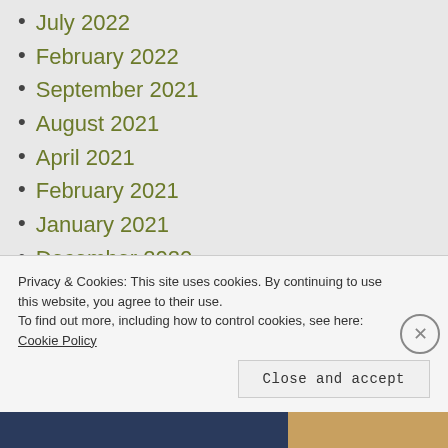July 2022
February 2022
September 2021
August 2021
April 2021
February 2021
January 2021
December 2020
November 2020
October 2020
September 2020
Privacy & Cookies: This site uses cookies. By continuing to use this website, you agree to their use.
To find out more, including how to control cookies, see here: Cookie Policy
Close and accept